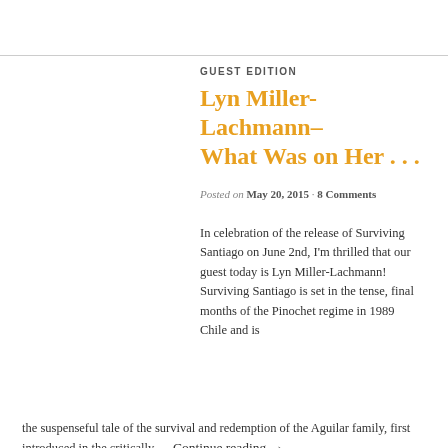GUEST EDITION
Lyn Miller-Lachmann– What Was on Her . . .
Posted on May 20, 2015 · 8 Comments
In celebration of the release of Surviving Santiago on June 2nd, I'm thrilled that our guest today is Lyn Miller-Lachmann! Surviving Santiago is set in the tense, final months of the Pinochet regime in 1989 Chile and is the suspenseful tale of the survival and redemption of the Aguilar family, first introduced in the critically … Continue reading →
Share this:
Twitter
Facebook
Email
LinkedIn
Tumblr